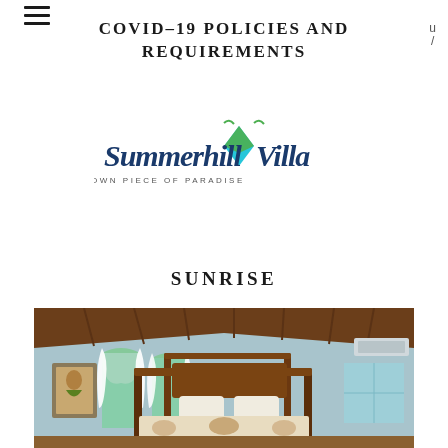COVID-19 POLICIES AND REQUIREMENTS
[Figure (logo): Summerhill Villa logo with script text and tagline YOUR OWN PIECE OF PARADISE]
SUNRISE
[Figure (photo): Interior bedroom photo showing a four-poster bed with wooden cathedral ceiling, light blue walls, white curtains, arched windows with garden view, and tropical artwork.]